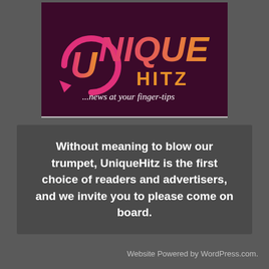[Figure (logo): UniqueHitz logo — circular arrow icon in pink/magenta on the left, large stylized text 'UNIQUE' in pink-to-orange gradient, 'HITZ' in orange below, tagline '...news at your finger-tips' in white italic script, all on a dark maroon/purple background]
Without meaning to blow our trumpet, UniqueHitz is the first choice of readers and advertisers, and we invite you to please come on board.
Website Powered by WordPress.com.